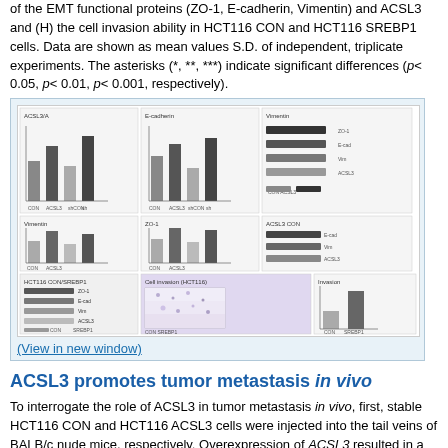of the EMT functional proteins (ZO-1, E-cadherin, Vimentin) and ACSL3 and (H) the cell invasion ability in HCT116 CON and HCT116 SREBP1 cells. Data are shown as mean values S.D. of independent, triplicate experiments. The asterisks (*, **, ***) indicate significant differences (p< 0.05, p< 0.01, p< 0.001, respectively).
[Figure (other): Multi-panel scientific figure showing bar charts of EMT functional protein expression (ZO-1, E-cadherin, Vimentin) and ACSL3, western blot images, microscopy images of cell invasion assay, and quantification bar charts in HCT116 CON and HCT116 SREBP1 cells.]
(View in new window)
ACSL3 promotes tumor metastasis in vivo
To interrogate the role of ACSL3 in tumor metastasis in vivo, first, stable HCT116 CON and HCT116 ACSL3 cells were injected into the tail veins of BALB/c nude mice, respectively. Overexpression of ACSL3 resulted in a significant increase of lung metastasis compared to the control (Figure 6A-6B). Hematoxylin-eosin (HE) staining further confirmed this conclusion (Figure 6C). Next, we assessed the effect of ACSL3 loss in the metastasis of CRC cells. Stable shCON and shACSL3 cells were injected into the portal vein of BALB/c nude mice, respectively. Mice in the shCON group showed scattered laparoscopic metastasis, such as anadesma near the spine, adrenal gland, and peritoneum. In contrast, no metastatic